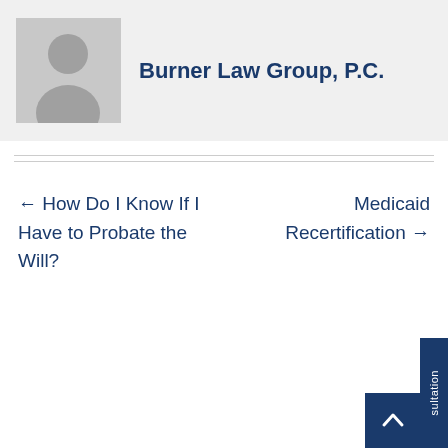[Figure (illustration): Grey avatar/placeholder person silhouette image]
Burner Law Group, P.C.
← How Do I Know If I Have to Probate the Will?
Medicaid Recertification →